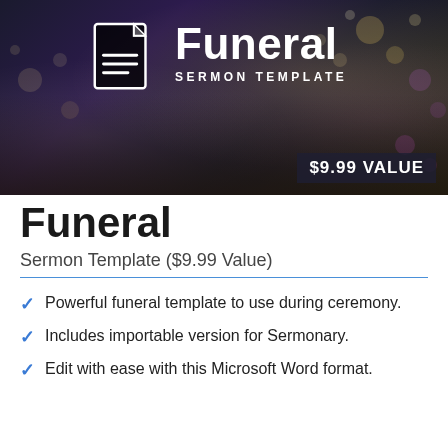[Figure (photo): Dark moody background image with candles and bokeh lights, showing a funeral sermon template product banner with document icon, title 'Funeral SERMON TEMPLATE', and '$9.99 VALUE' badge]
Funeral
Sermon Template ($9.99 Value)
Powerful funeral template to use during ceremony.
Includes importable version for Sermonary.
Edit with ease with this Microsoft Word format.